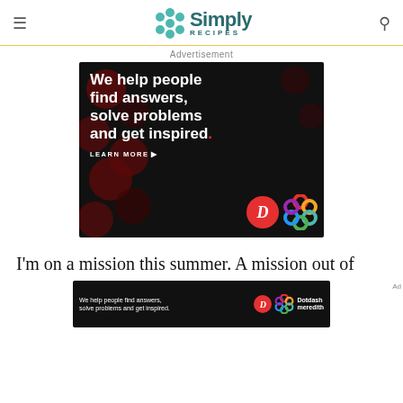Simply Recipes
Advertisement
[Figure (screenshot): Dark advertisement banner for Dotdash Meredith. Black background with dark red bokeh dots. White bold text: 'We help people find answers, solve problems and get inspired.' with red period. 'LEARN MORE' call-to-action with arrow. Dotdash D logo (red circle, white D) and Meredith colorful interlocking circles logo.]
I'm on a mission this summer. A mission out of
[Figure (screenshot): Small dark Dotdash Meredith sticky ad bar at bottom. Black background with white text 'We help people find answers, solve problems and get inspired.' D logo and colorful Meredith logo with 'Dotdash meredith' text.]